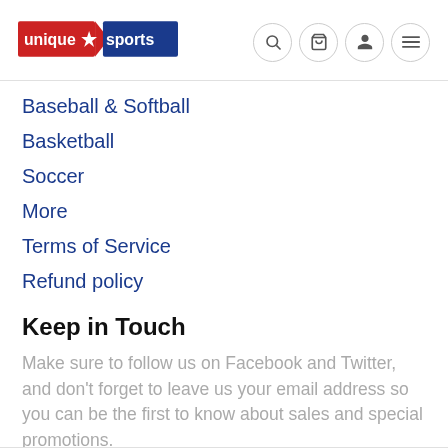unique sports [logo with navigation icons: search, cart, account, menu]
Baseball & Softball
Basketball
Soccer
More
Terms of Service
Refund policy
Keep in Touch
Make sure to follow us on Facebook and Twitter, and don't forget to leave us your email address so you can be the first to know about sales and special promotions.